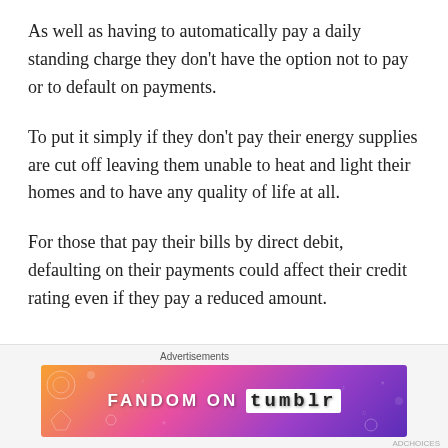As well as having to automatically pay a daily standing charge they don't have the option not to pay or to default on payments.
To put it simply if they don't pay their energy supplies are cut off leaving them unable to heat and light their homes and to have any quality of life at all.
For those that pay their bills by direct debit, defaulting on their payments could affect their credit rating even if they pay a reduced amount.
[Figure (infographic): Fandom on Tumblr advertisement banner with colorful gradient background (orange to purple), white decorative icons and text reading FANDOM ON tumblr]
Advertisements